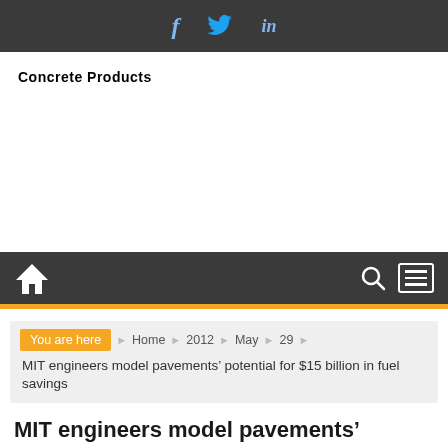Social share bar: Facebook, Twitter, LinkedIn
Concrete Products
[Figure (other): Advertisement / empty white space]
Navigation bar with home icon, search icon, and menu icon
You are here  Home  2012  May  29  MIT engineers model pavements' potential for $15 billion in fuel savings
MIT engineers model pavements' potential for